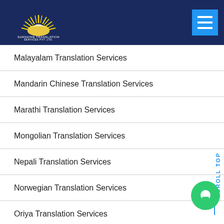Sunshine Translation Services Pvt. Ltd. — Navigation header with logo and hamburger menu
Malayalam Translation Services
Mandarin Chinese Translation Services
Marathi Translation Services
Mongolian Translation Services
Nepali Translation Services
Norwegian Translation Services
Oriya Translation Services
Pashto Translation Services
Persian Translation Services
Polish Translation Services
Portuguese Translation Services
Punjabi Translation Services